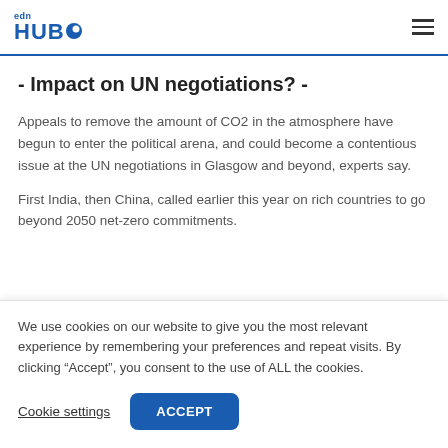edn HUB
- Impact on UN negotiations? -
Appeals to remove the amount of CO2 in the atmosphere have begun to enter the political arena, and could become a contentious issue at the UN negotiations in Glasgow and beyond, experts say.
First India, then China, called earlier this year on rich countries to go beyond 2050 net-zero commitments.
We use cookies on our website to give you the most relevant experience by remembering your preferences and repeat visits. By clicking “Accept”, you consent to the use of ALL the cookies.
Cookie settings | ACCEPT